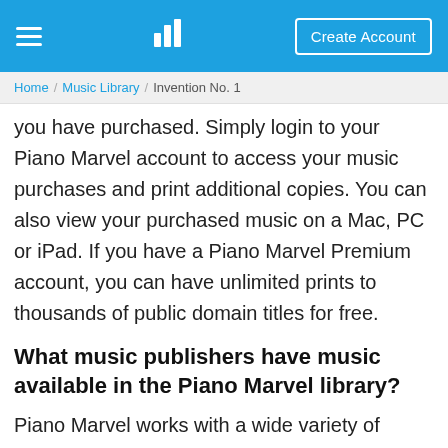Piano Marvel — Create Account
Home / Music Library / Invention No. 1
you have purchased. Simply login to your Piano Marvel account to access your music purchases and print additional copies. You can also view your purchased music on a Mac, PC or iPad. If you have a Piano Marvel Premium account, you can have unlimited prints to thousands of public domain titles for free.
What music publishers have music available in the Piano Marvel library?
Piano Marvel works with a wide variety of